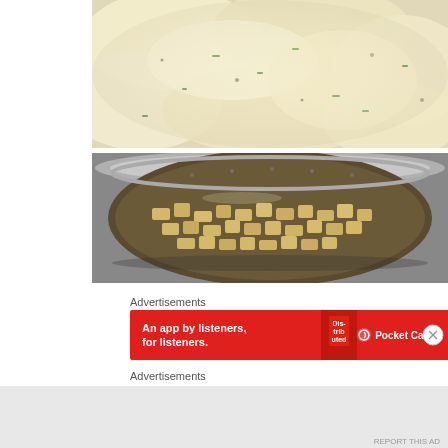[Figure (photo): Close-up of mashed potatoes with green chives and black pepper on top, white/cream colored, textured surface]
[Figure (photo): Diced raw potatoes in a metal steamer basket/colander with water, silver/stainless steel pot]
Advertisements
[Figure (infographic): Red advertisement banner for Pocket Casts app: 'An app by listeners, for listeners.' with book graphic and Pocket Casts logo]
Advertisements